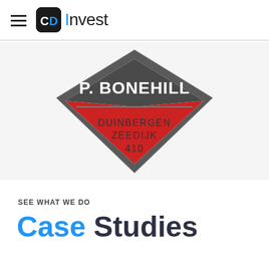CD Invest
[Figure (logo): P. Bonehill diamond-shaped logo with text 'P. BONEHILL' on dark grey banner at top, and 'DUINBERGEN ZEEDIJK 410' on red background in lower portion of diamond]
SEE WHAT WE DO
Case Studies